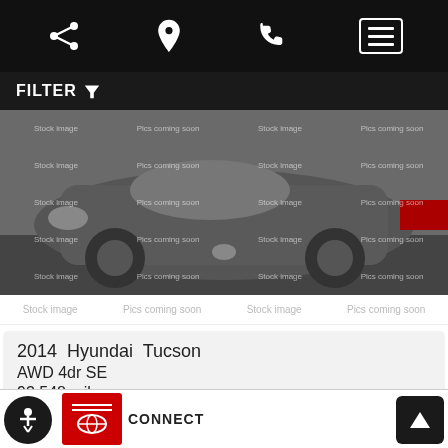[Figure (screenshot): Mobile app top navigation bar with share, location, phone and menu icons on black background]
FILTER
[Figure (photo): Gray 2014 Hyundai Tucson SUV stock image with watermarks reading Stock image and Pics coming soon across the photo]
Stock image   Pics coming soon   Stock image   Pics coming soon
2014 Hyundai Tucson AWD 4dr SE 93,548 miles
CALL FOR PRICE! (702)462-1350
[Figure (screenshot): Bottom navigation strip with dealer Connect logo, accessibility button and scroll-to-top button]